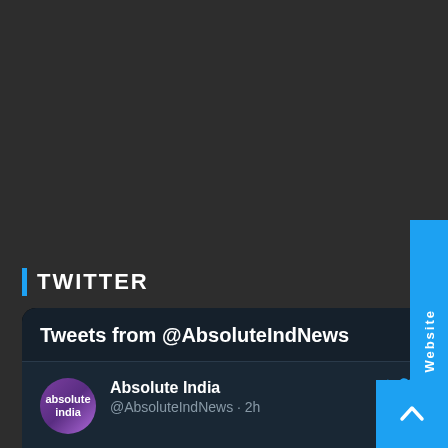TWITTER
Tweets from @AbsoluteIndNews
Absolute India @AbsoluteIndNews · 2h
मध्यप्रदेश बुलेटिन | 22 की ताज़ा खबर अभी, 12 बजे तक 5 महत्वपूर्ण खबरे एक साथ देखें Watch full MPdaily bulletin youtu.be/b8x-DbUuuec
Hindi Website